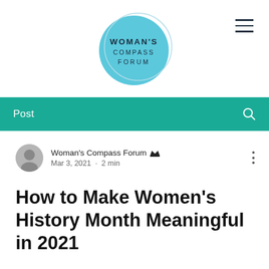[Figure (logo): Woman's Compass Forum logo: a light blue circle with the text WOMAN'S COMPASS FORUM inside, with a thin circular outline overlapping it]
Post
Woman's Compass Forum  Mar 3, 2021 · 2 min
How to Make Women's History Month Meaningful in 2021